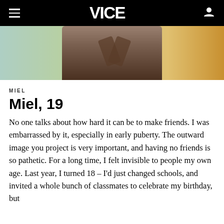VICE
[Figure (photo): Partial photo of a person, cropped at waist level, with a colorful gradient background (green, yellow, orange)]
MIEL
Miel, 19
No one talks about how hard it can be to make friends. I was embarrassed by it, especially in early puberty. The outward image you project is very important, and having no friends is so pathetic. For a long time, I felt invisible to people my own age. Last year, I turned 18 – I'd just changed schools, and invited a whole bunch of classmates to celebrate my birthday, but